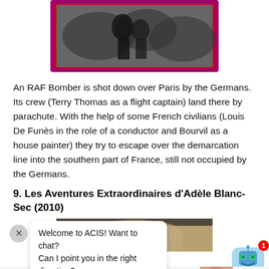[Figure (photo): A black and white photograph with a red/purple border showing figures outdoors among foliage]
An RAF Bomber is shot down over Paris by the Germans. Its crew (Terry Thomas as a flight captain) land there by parachute. With the help of some French civilians (Louis De Funès in the role of a conductor and Bourvil as a house painter) they try to escape over the demarcation line into the southern part of France, still not occupied by the Germans.
9. Les Aventures Extraordinaires d'Adèle Blanc-Sec (2010)
[Figure (screenshot): Screenshot of a movie poster/image for Les Aventures Extraordinaires d'Adèle Blanc-Sec with a chat overlay from ACIS chatbot saying 'Welcome to ACIS! Want to chat? Can I point you in the right direction?' and a robot icon with badge showing 1]
FOR ADVENTURE